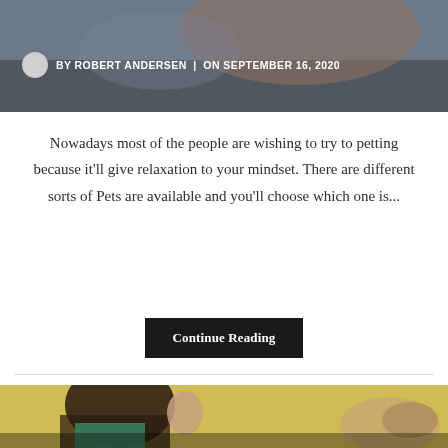[Figure (photo): Top header image showing a person with a pet (dog), dark/muted tones, with byline overlay]
BY ROBERT ANDERSEN | ON SEPTEMBER 16, 2020
Nowadays most of the people are wishing to try to petting because it'll give relaxation to your mindset. There are different sorts of Pets are available and you'll choose which one is...
Continue Reading
[Figure (photo): Bottom image showing a smiling woman with dark hair and a dog against a yellow background]